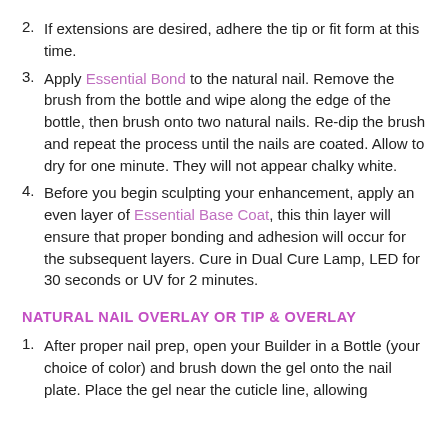2. If extensions are desired, adhere the tip or fit form at this time.
3. Apply Essential Bond to the natural nail. Remove the brush from the bottle and wipe along the edge of the bottle, then brush onto two natural nails. Re-dip the brush and repeat the process until the nails are coated. Allow to dry for one minute. They will not appear chalky white.
4. Before you begin sculpting your enhancement, apply an even layer of Essential Base Coat, this thin layer will ensure that proper bonding and adhesion will occur for the subsequent layers. Cure in Dual Cure Lamp, LED for 30 seconds or UV for 2 minutes.
NATURAL NAIL OVERLAY OR TIP & OVERLAY
1. After proper nail prep, open your Builder in a Bottle (your choice of color) and brush down the gel onto the nail plate. Place the gel near the cuticle line, allowing